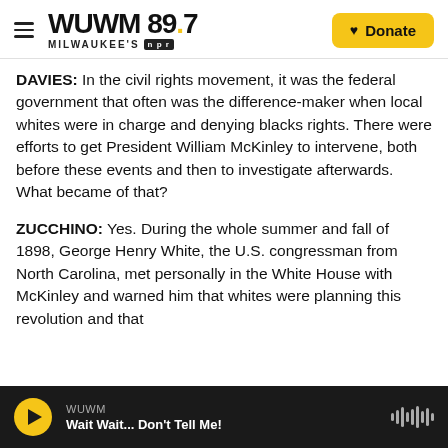WUWM 89.7 MILWAUKEE'S NPR — Donate
DAVIES: In the civil rights movement, it was the federal government that often was the difference-maker when local whites were in charge and denying blacks rights. There were efforts to get President William McKinley to intervene, both before these events and then to investigate afterwards. What became of that?
ZUCCHINO: Yes. During the whole summer and fall of 1898, George Henry White, the U.S. congressman from North Carolina, met personally in the White House with McKinley and warned him that whites were planning this revolution and that
WUWM — Wait Wait... Don't Tell Me!